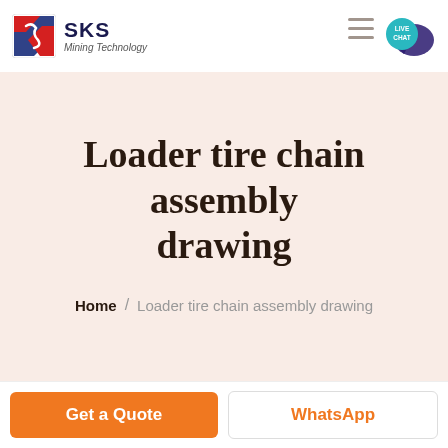[Figure (logo): SKS Mining Technology company logo with red/blue shield icon and company name]
Loader tire chain assembly drawing
Home / Loader tire chain assembly drawing
Get a Quote
WhatsApp